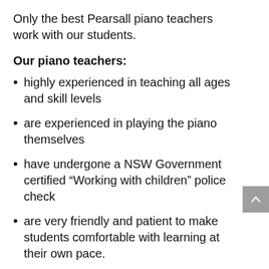Only the best Pearsall piano teachers work with our students.
Our piano teachers:
highly experienced in teaching all ages and skill levels
are experienced in playing the piano themselves
have undergone a NSW Government certified “Working with children” police check
are very friendly and patient to make students comfortable with learning at their own pace.